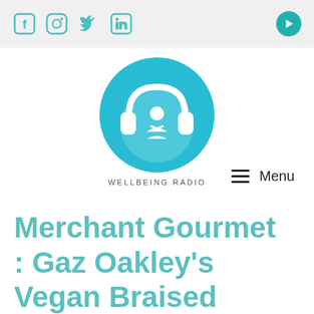[Figure (logo): Wellbeing Radio logo: blue circle with headphones and meditating figure, text WELLBEING RADIO below]
Social media icons: Facebook, Instagram, Twitter, LinkedIn; Play button on right
≡ Menu
Merchant Gourmet : Gaz Oakley's Vegan Braised